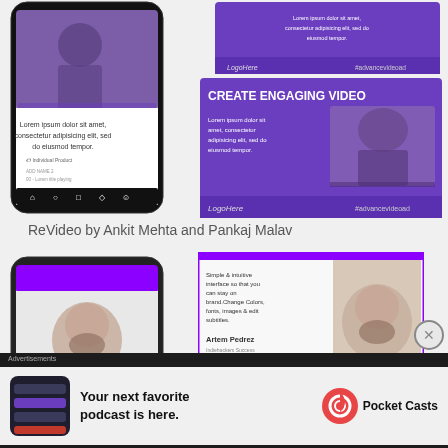[Figure (screenshot): Phone mockup with purple video ad interface showing person seated in cafe, Lorem ipsum text overlay, #advancevideoad hashtag]
[Figure (screenshot): Small purple ad card with Lorem ipsum text and #advancevideoad]
[Figure (screenshot): Large purple ad card with CREATE ENGAGING VIDEO headline, person photo, Lorem ipsum body text, LogoHere branding, #advancevideoad]
ReVideo by Ankit Mehta and Pankaj Malav
[Figure (screenshot): Phone mockup with purple header showing bearded man smiling]
[Figure (screenshot): Ad card with Simple & intuitive interface text, Artem Pedrez testimonial, bearded man photo, purple border]
Advertisements
[Figure (screenshot): Pocket Casts advertisement: Your next favorite podcast is here. with Pocket Casts logo on dark background]